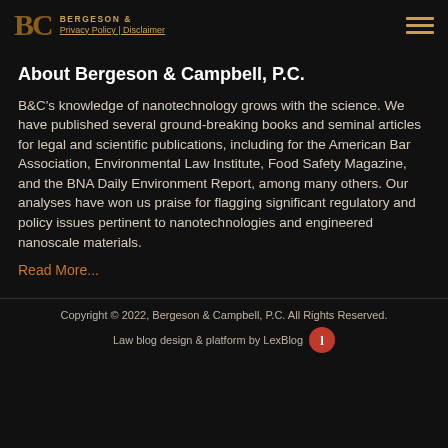BERGESON & Privacy Policy | Disclaimer
About Bergeson & Campbell, P.C.
B&C's knowledge of nanotechnology grows with the science. We have published several ground-breaking books and seminal articles for legal and scientific publications, including for the American Bar Association, Environmental Law Institute, Food Safety Magazine, and the BNA Daily Environment Report, among many others. Our analyses have won us praise for flagging significant regulatory and policy issues pertinent to nanotechnologies and engineered nanoscale materials.
Read More...
Copyright © 2022, Bergeson & Campbell, P.C. All Rights Reserved.
Law blog design & platform by LexBlog